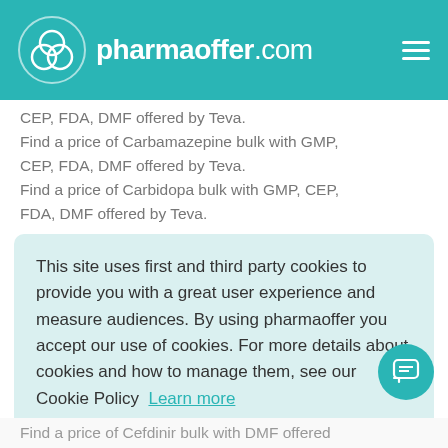pharmaoffer.com
CEP, FDA, DMF offered by Teva. Find a price of Carbamazepine bulk with GMP, CEP, FDA, DMF offered by Teva. Find a price of Carbidopa bulk with GMP, CEP, FDA, DMF offered by Teva.
This site uses first and third party cookies to provide you with a great user experience and measure audiences. By using pharmaoffer you accept our use of cookies. For more details about cookies and how to manage them, see our Cookie Policy  Learn more
Got it!
Find a price of Cefdinir bulk with DMF offered